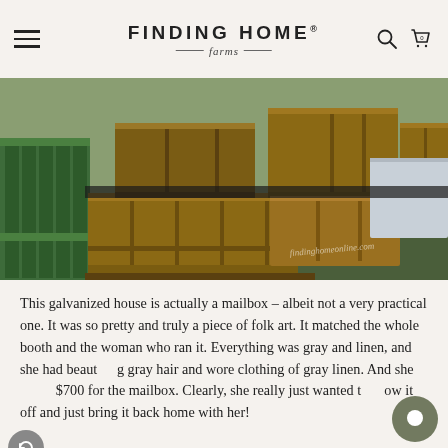FINDING HOME farms
[Figure (photo): Collection of vintage wooden crates and boxes with dividers laid out on grass, with a green wooden planter/crate visible on the left side. Watermark reads findinghomeonline.com]
This galvanized house is actually a mailbox – albeit not a very practical one. It was so pretty and truly a piece of folk art. It matched the whole booth and the woman who ran it. Everything was gray and linen, and she had beautiful gray hair and wore clothing of gray linen. And she asked $700 for the mailbox. Clearly, she really just wanted to show it off and just bring it back home with her!